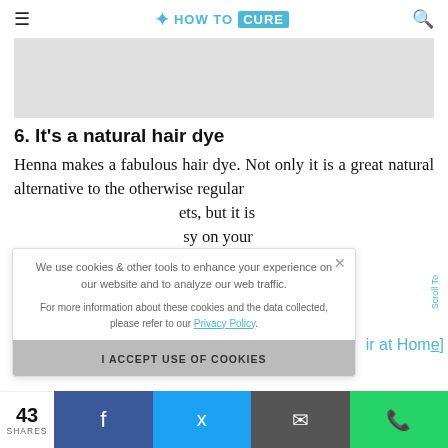HOW TO CURE
[Figure (photo): Gray image placeholder banner]
6. It's a natural hair dye
Henna makes a fabulous hair dye. Not only it is a great natural alternative to the otherwise regular [ets, but it is [asy on your [ir at Home]
We use cookies & other tools to enhance your experience on our website and to analyze our web traffic. For more information about these cookies and the data collected, please refer to our Privacy Policy.
I ACCEPT USE OF COOKIES
43 SHARES — Facebook, Twitter, Email, WhatsApp